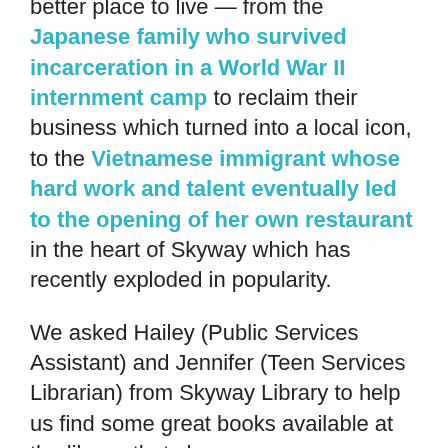better place to live — from the Japanese family who survived incarceration in a World War II internment camp to reclaim their business which turned into a local icon, to the Vietnamese immigrant whose hard work and talent eventually led to the opening of her own restaurant in the heart of Skyway which has recently exploded in popularity.
We asked Hailey (Public Services Assistant) and Jennifer (Teen Services Librarian) from Skyway Library to help us find some great books available at the library that showcase some incredible AANHPI authors, illustrators, and stories. They did not